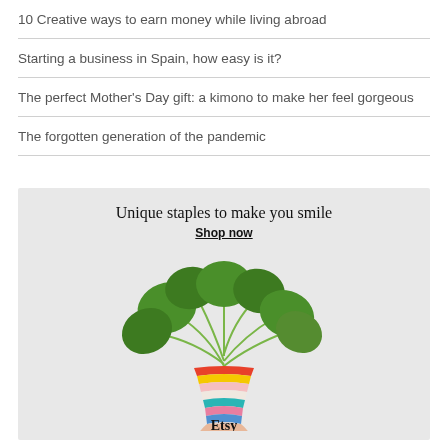10 Creative ways to earn money while living abroad
Starting a business in Spain, how easy is it?
The perfect Mother's Day gift: a kimono to make her feel gorgeous
The forgotten generation of the pandemic
[Figure (illustration): Etsy advertisement showing a colorful striped plant pot held by a hand with the tagline 'Unique staples to make you smile' and 'Shop now' link, with a green plant above the pot. Etsy brand name at bottom.]